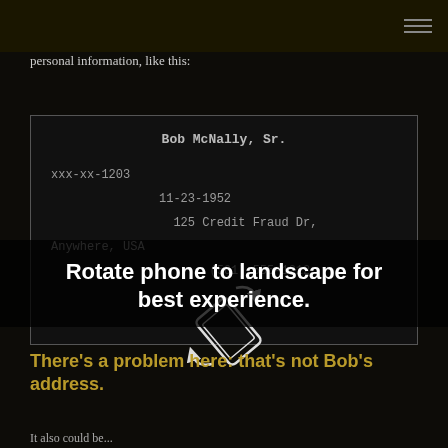personal information, like this:
[Figure (infographic): A dark card/form showing personal info: Bob McNally, Sr., xxx-xx-1203, 11-23-1952, 125 Credit Fraud Dr, Anywhere, USA, (561) 555-1212. A rotate-phone icon overlays the card.]
Rotate phone to landscape for best experience.
There's a problem here: that's not Bob's address.
It also could be...